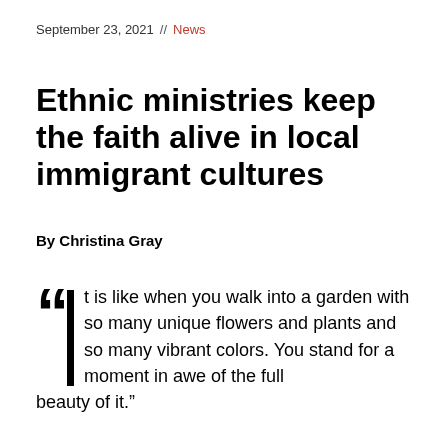September 23, 2021 // News
Ethnic ministries keep the faith alive in local immigrant cultures
By Christina Gray
"It is like when you walk into a garden with so many unique flowers and plants and so many vibrant colors. You stand for a moment in awe of the full beauty of it."